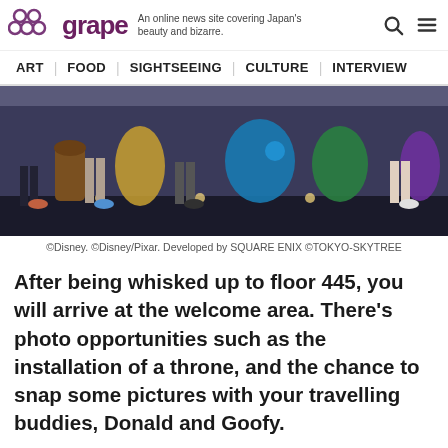grape — An online news site covering Japan's beauty and bizarre.
ART | FOOD | SIGHTSEEING | CULTURE | INTERVIEW
[Figure (photo): People standing on a dark stage with colorful Disney character costumes/decorations in the background, inside what appears to be a Tokyo Skytree attraction.]
©Disney. ©Disney/Pixar. Developed by SQUARE ENIX ©TOKYO-SKYTREE
After being whisked up to floor 445, you will arrive at the welcome area. There's photo opportunities such as the installation of a throne, and the chance to snap some pictures with your travelling buddies, Donald and Goofy.